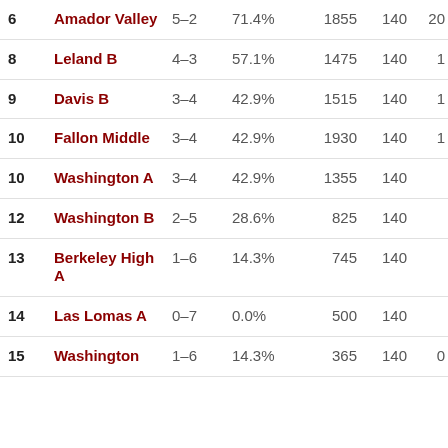| Rank | Name | Record | Pct | Pts | Col5 | Col6 |
| --- | --- | --- | --- | --- | --- | --- |
| 6 | Amador Valley | 5–2 | 71.4% | 1855 | 140 | 20 |
| 8 | Leland B | 4–3 | 57.1% | 1475 | 140 | 1 |
| 9 | Davis B | 3–4 | 42.9% | 1515 | 140 | 1 |
| 10 | Fallon Middle | 3–4 | 42.9% | 1930 | 140 | 1 |
| 10 | Washington A | 3–4 | 42.9% | 1355 | 140 |  |
| 12 | Washington B | 2–5 | 28.6% | 825 | 140 |  |
| 13 | Berkeley High A | 1–6 | 14.3% | 745 | 140 |  |
| 14 | Las Lomas A | 0–7 | 0.0% | 500 | 140 |  |
| 15 | Washington | 1–6 | 14.3% | 365 | 140 | 0 |